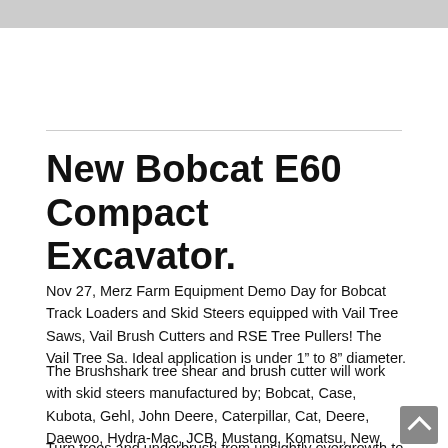[Figure (other): Gray header image banner at top of page]
New Bobcat E60 Compact Excavator.
Nov 27, Merz Farm Equipment Demo Day for Bobcat Track Loaders and Skid Steers equipped with Vail Tree Saws, Vail Brush Cutters and RSE Tree Pullers! The Vail Tree Sa. Ideal application is under 1” to 8” diameter.
The Brushshark tree shear and brush cutter will work with skid steers manufactured by; Bobcat, Case, Kubota, Gehl, John Deere, Caterpillar, Cat, Deere, Daewoo, Hydra-Mac, JCB, Mustang, Komatsu, New Holland, Scat Track, Melrose, Thomas, Takeuchi, ASV, and many more.
Turn trees and underbrush from unsightly overgrowth to mulch